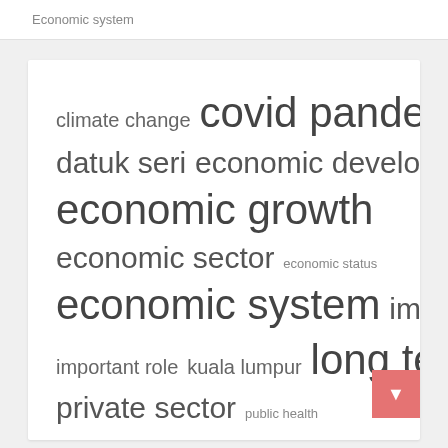Economic system
[Figure (infographic): Tag cloud showing economic-related keywords in varying font sizes indicating frequency/importance: climate change, covid pandemic, datuk seri, economic development, economic growth, economic sector, economic status, economic system, impact covid, important role, kuala lumpur, long term, private sector, public health]